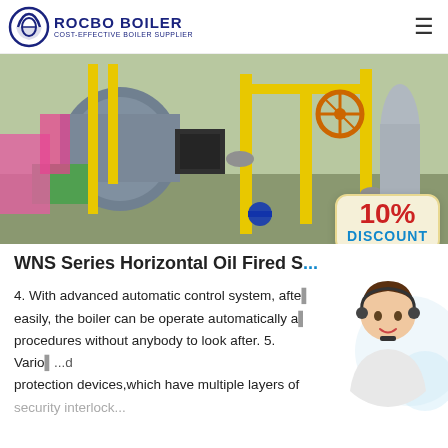ROCBO BOILER — COST-EFFECTIVE BOILER SUPPLIER
[Figure (photo): Industrial boiler room showing WNS series horizontal oil fired steam boilers with yellow pipes, valves, and fittings. A red '10% DISCOUNT' badge is overlaid on the bottom right of the image.]
WNS Series Horizontal Oil Fired S...
4. With advanced automatic control system, after simple setting easily, the boiler can be operate automatically and complete all procedures without anybody to look after. 5. Various...d protection devices,which have multiple layers of security interlock...
[Figure (photo): Customer service agent (woman with headset, smiling) with 7X24 Online text below, overlaid on the right side of the page.]